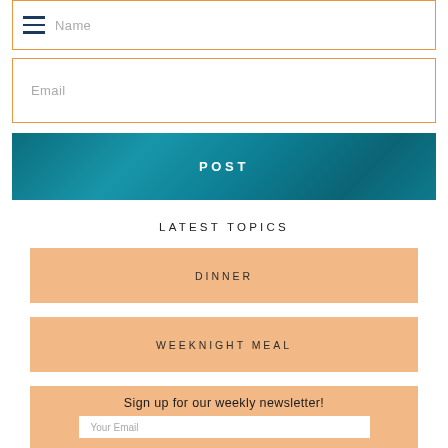Name
Email
POST
LATEST TOPICS
DINNER
WEEKNIGHT MEAL
Sign up for our weekly newsletter!
Your Email